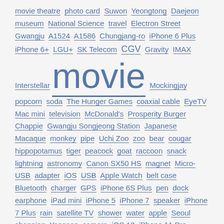movie theatre photo card Suwon Yeongtong Daejeon museum National Science travel Electron Street Gwangju A1524 A1586 Chungjang-ro iPhone 6 Plus iPhone 6+ LGU+ SK Telecom CGV Gravity IMAX Interstellar movie Mockingjay popcorn soda The Hunger Games coaxial cable EyeTV Mac mini television McDonald's Prosperity Burger Chappie Gwangju Songjeong Station Japanese Macaque monkey pipe Uchi Zoo zoo bear cougar hippopotamus tiger peacock goat raccoon snack lightning astronomy Canon SX50 HS magnet Micro-USB adapter iOS USB Apple Watch belt case Bluetooth charger GPS iPhone 6S Plus pen dock earphone iPad mini iPhone 5 iPhone 7 speaker iPhone 7 Plus rain satellite TV shower water apple Seoul shopping Yongsan camera iOS 13 iPhone 11 Pro